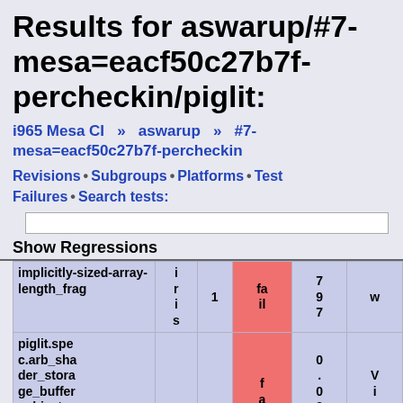Results for aswarup/#7-mesa=eacf50c27b7f-percheckin/piglit:
i965 Mesa CI » aswarup » #7-mesa=eacf50c27b7f-percheckin
Revisions • Subgroups • Platforms • Test Failures • Search tests:
| Test | Platform | Build | Result | Score | Action |
| --- | --- | --- | --- | --- | --- |
| implicitly-sized-array-length_frag | iris | 1 | fail | 797 | w |
| piglit.spec.arb_shader_storage_buffer_object.compiler.implicitly-sized- | hsw | m64 | fail | 0.0227 | View |